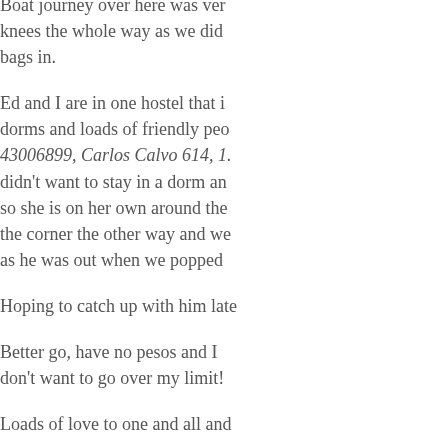Boat journey over here was very rough, on our knees the whole way as we didn't have room for bags in.
Ed and I are in one hostel that is nice with big dorms and loads of friendly people. It's called 43006899, Carlos Calvo 614, 1... didn't want to stay in a dorm and wants a private so she is on her own around the corner the other way and we... as he was out when we popped...
Hoping to catch up with him late...
Better go, have no pesos and I don't want to go over my limit!
Loads of love to one and all and...
Em
Xxx
HELS – Thank you for the upda...